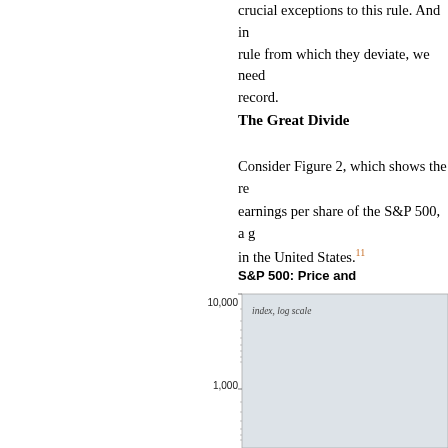crucial exceptions to this rule. And in order to understand the rule from which they deviate, we need to establish the record.
The Great Divide
Consider Figure 2, which shows the real price and real earnings per share of the S&P 500, a group of companies in the United States.11
[Figure (continuous-plot): Partial view of a log-scale chart showing S&P 500 price and earnings per share over time. Y-axis shows index values from 1,000 to 10,000 on a log scale. Chart background is light gray. Label reads 'index, log scale'.]